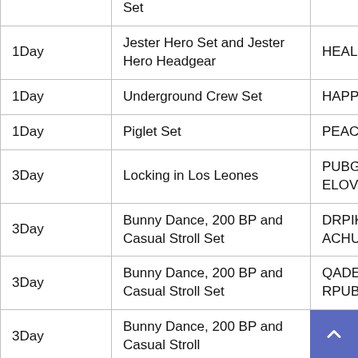| Duration | Item | Code |
| --- | --- | --- |
|  | Set |  |
| 1Day | Jester Hero Set and Jester Hero Headgear | HEAL-TH |
| 1Day | Underground Crew Set | HAPP-INES-S |
| 1Day | Piglet Set | PEAC-E |
| 3Day | Locking in Los Leones | PUBG-MOBIL-ELOV-EU |
| 3Day | Bunny Dance, 200 BP and Casual Stroll Set | DRPIK-ACHUP-UBGM |
| 3Day | Bunny Dance, 200 BP and Casual Stroll Set | QADEE-RPUB-GM |
| 3Day | Bunny Dance, 200 BP and Casual Stroll Set (partial) | SOLO-KINGPU- |